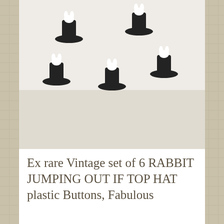[Figure (photo): Photo of black and white novelty plastic buttons shaped like rabbits jumping out of top hats, arranged on a light gray surface]
Ex rare Vintage set of 6 RABBIT JUMPING OUT IF TOP HAT plastic Buttons, Fabulous
$15.00
[Figure (photo): Close-up photo of a clear/silver precision inlay glass button with a green faceted glass center stone, photographed against a dark background]
Precision Inlay Glass Button -- Green In